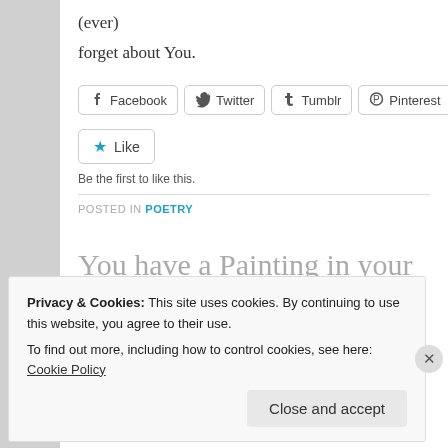(ever)
forget about You.
[Figure (screenshot): Social share buttons: Facebook, Twitter, Tumblr, Pinterest, Emai...]
[Figure (screenshot): Like button with star icon]
Be the first to like this.
POSTED IN POETRY
You have a Painting in your Attic
POSTED ON FEBRUARY 27, 2014
Privacy & Cookies: This site uses cookies. By continuing to use this website, you agree to their use.
To find out more, including how to control cookies, see here: Cookie Policy
Close and accept